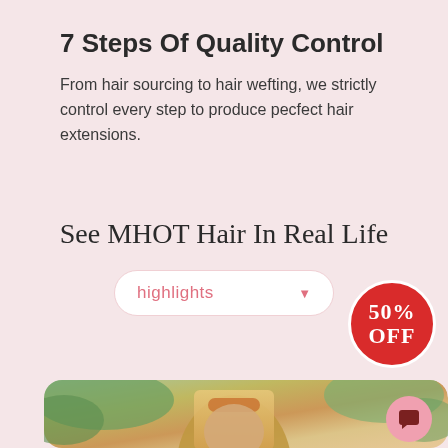7 Steps Of Quality Control
From hair sourcing to hair wefting, we strictly control every step to produce pecfect hair extensions.
See MHOT Hair In Real Life
highlights
[Figure (other): Red circular badge with white border showing '50% OFF' promotional discount]
[Figure (photo): Photo of a woman with long blonde hair and sunglasses on her head, outdoors with green foliage background]